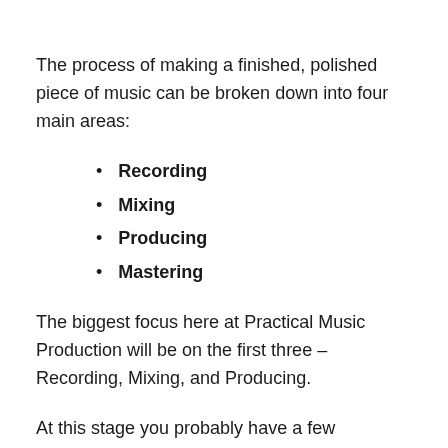The process of making a finished, polished piece of music can be broken down into four main areas:
Recording
Mixing
Producing
Mastering
The biggest focus here at Practical Music Production will be on the first three – Recording, Mixing, and Producing.
At this stage you probably have a few questions…